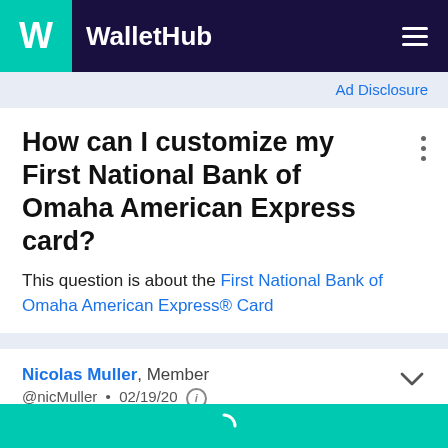WalletHub
Ad Disclosure
How can I customize my First National Bank of Omaha American Express card?
This question is about the First National Bank of Omaha American Express® Card
Nicolas Muller, Member
@nicMuller • 02/19/20
You can customize your First National Bank of Omaha American Express card by logging into the full site. Then